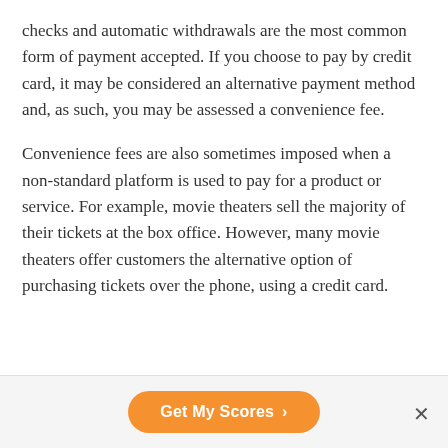checks and automatic withdrawals are the most common form of payment accepted. If you choose to pay by credit card, it may be considered an alternative payment method and, as such, you may be assessed a convenience fee.
Convenience fees are also sometimes imposed when a non-standard platform is used to pay for a product or service. For example, movie theaters sell the majority of their tickets at the box office. However, many movie theaters offer customers the alternative option of purchasing tickets over the phone, using a credit card.
[Figure (other): Orange rounded button labeled 'Get My Scores' with a right chevron arrow, and an X close button to the right]